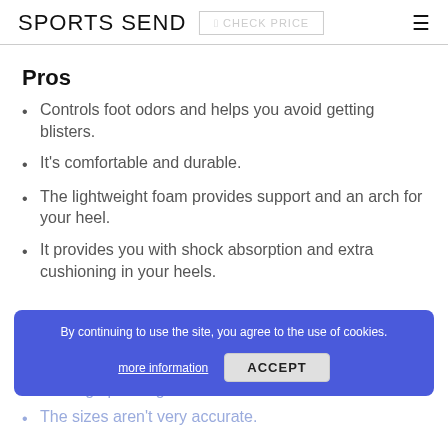SPORTS SEND
Pros
Controls foot odors and helps you avoid getting blisters.
It's comfortable and durable.
The lightweight foam provides support and an arch for your heel.
It provides you with shock absorption and extra cushioning in your heels.
Cons
Has high padding.
The sizes aren't very accurate.
By continuing to use the site, you agree to the use of cookies.